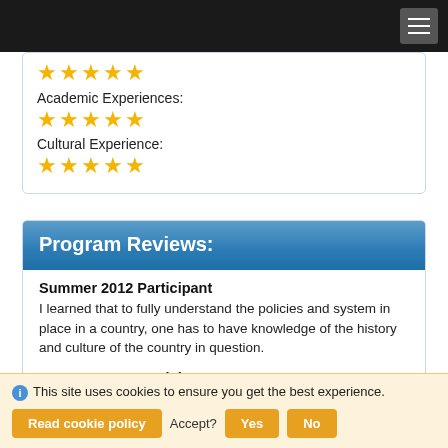[Figure (other): Top navigation bar with hamburger menu icon on dark background]
★★★★★
Academic Experiences:
★★★★★
Cultural Experience:
★★★★★
Program Reviews:
Summer 2012 Participant
I learned that to fully understand the policies and system in place in a country, one has to have knowledge of the history and culture of the country in question.
Summer 2014 Participant
My favorite part about the program was meeting these
This site uses cookies to ensure you get the best experience. Read cookie policy  Accept?  Yes  No